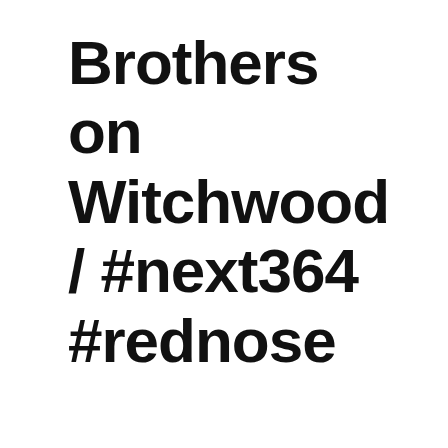Brothers on Witchwood / #next364 #rednose